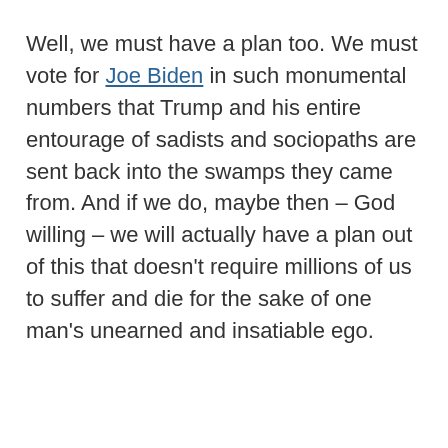Well, we must have a plan too. We must vote for Joe Biden in such monumental numbers that Trump and his entire entourage of sadists and sociopaths are sent back into the swamps they came from. And if we do, maybe then – God willing – we will actually have a plan out of this that doesn't require millions of us to suffer and die for the sake of one man's unearned and insatiable ego.
SHARE ON
MICHAEL BIHOVSKY